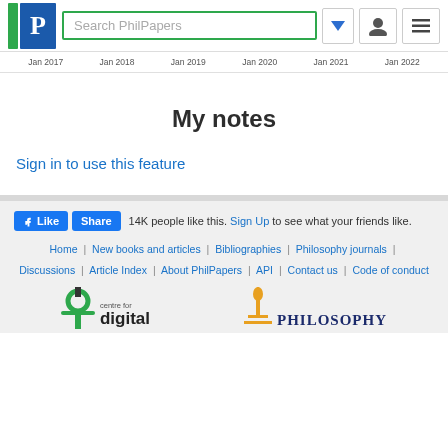[Figure (screenshot): PhilPapers website header with logo, search box, dropdown arrow, user icon, and hamburger menu]
[Figure (screenshot): Chart x-axis labels showing Jan 2017 through Jan 2022]
My notes
Sign in to use this feature
[Figure (screenshot): Facebook Like and Share buttons with '14K people like this. Sign Up to see what your friends like.']
Home | New books and articles | Bibliographies | Philosophy journals | Discussions | Article Index | About PhilPapers | API | Contact us | Code of conduct
[Figure (logo): Centre for Digital Humanities logo and Philosophy logo at the bottom]